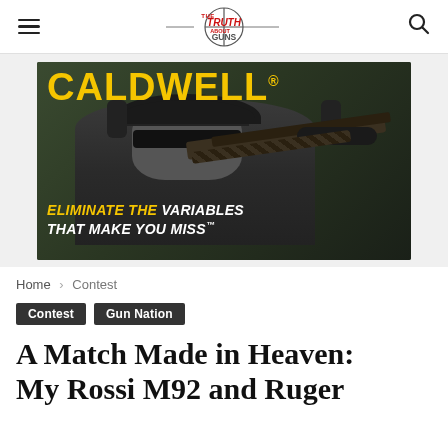The Truth About Guns
[Figure (photo): Caldwell advertisement: a man wearing a black cap, sunglasses, and headphones aims a rifle. Text reads 'CALDWELL® — ELIMINATE THE VARIABLES THAT MAKE YOU MISS™']
Home › Contest
Contest  Gun Nation
A Match Made in Heaven: My Rossi M92 and Ruger